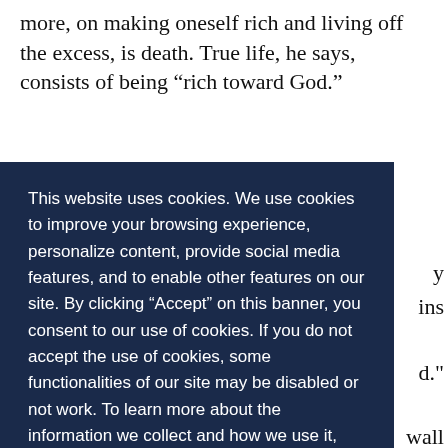more, on making oneself rich and living off the excess, is death. True life, he says, consists of being “rich toward God.”
This website uses cookies. We use cookies to improve your browsing experience, personalize content, provide social media features, and to enable other features on our site. By clicking “Accept” on this banner, you consent to our use of cookies. If you do not accept the use of cookies, some functionalities of our site may be disabled or not work. To learn more about the information we collect and how we use it, please review our Privacy Policy
Decline
Accept
can't eat just one!"